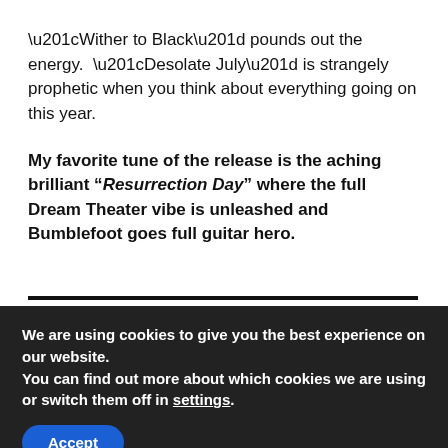“Wither to Black” pounds out the energy.  “Desolate July” is strangely prophetic when you think about everything going on this year.
My favorite tune of the release is the aching brilliant “Resurrection Day” where the full Dream Theater vibe is unleashed and Bumblefoot goes full guitar hero.
We are using cookies to give you the best experience on our website.
You can find out more about which cookies we are using or switch them off in settings.
Accept